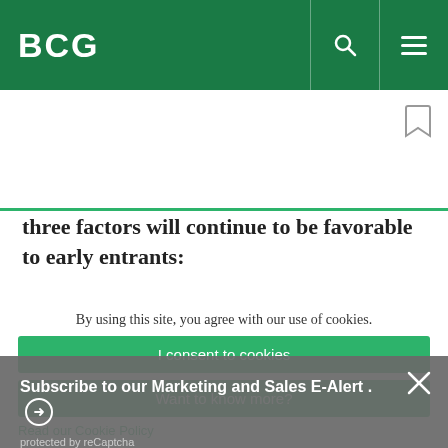BCG
three factors will continue to be favorable to early entrants:
Subscribe to our Marketing and Sales E-Alert.
protected by reCaptcha
By using this site, you agree with our use of cookies.
I consent to cookies
Want to know more?
Read our Cookie Policy